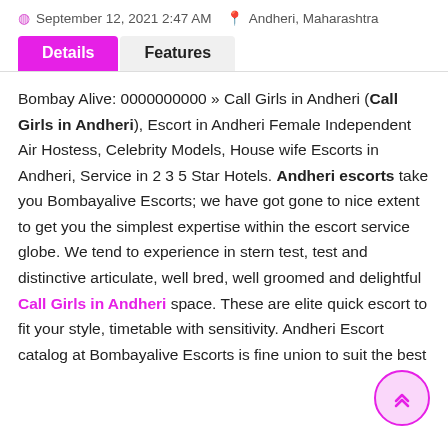September 12, 2021 2:47 AM  Andheri, Maharashtra
Details  Features
Bombay Alive: 0000000000 » Call Girls in Andheri (Call Girls in Andheri), Escort in Andheri Female Independent Air Hostess, Celebrity Models, House wife Escorts in Andheri, Service in 2 3 5 Star Hotels. Andheri escorts take you Bombayalive Escorts; we have got gone to nice extent to get you the simplest expertise within the escort service globe. We tend to experience in stern test, test and distinctive articulate, well bred, well groomed and delightful Call Girls in Andheri space. These are elite quick escort to fit your style, timetable with sensitivity. Andheri Escort catalog at Bombayalive Escorts is fine union to suit the best